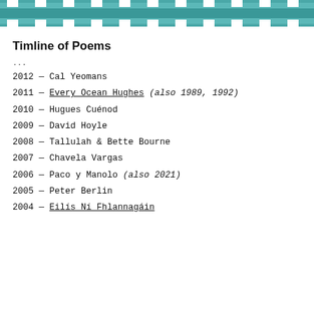[Figure (illustration): Decorative teal/turquoise pixelated banner image at the top of the page]
Timline of Poems
...
2012 — Cal Yeomans
2011 — Every Ocean Hughes (also 1989, 1992)
2010 — Hugues Cuénod
2009 — David Hoyle
2008 — Tallulah & Bette Bourne
2007 — Chavela Vargas
2006 — Paco y Manolo (also 2021)
2005 — Peter Berlin
2004 — Eilís Ní Fhlannagáin